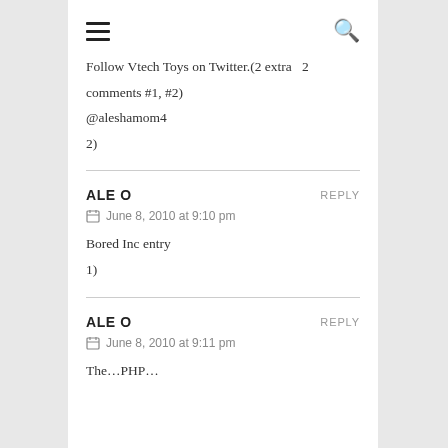≡  🔍
Follow Vtech Toys on Twitter.(2 extra comments #1, #2)
@aleshamom4
2)
ALE O   REPLY
June 8, 2010 at 9:10 pm
Bored Inc entry
1)
ALE O   REPLY
June 8, 2010 at 9:11 pm
The...PHP...